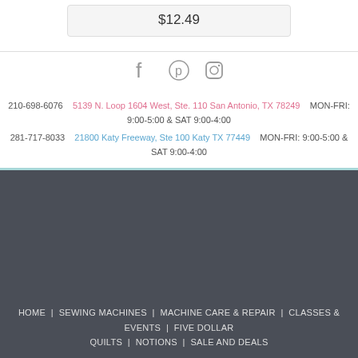| $12.49 |
[Figure (other): Social media icons: Facebook, Pinterest, Instagram]
210-698-6076   5139 N. Loop 1604 West, Ste. 110 San Antonio, TX 78249   MON-FRI: 9:00-5:00 & SAT 9:00-4:00
281-717-8033   21800 Katy Freeway, Ste 100 Katy TX 77449   MON-FRI: 9:00-5:00 & SAT 9:00-4:00
HOME | SEWING MACHINES | MACHINE CARE & REPAIR | CLASSES & EVENTS | FIVE DOLLAR QUILTS | NOTIONS | SALE AND DEALS